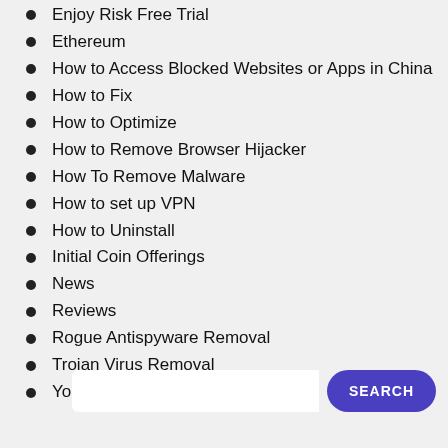Enjoy Risk Free Trial
Ethereum
How to Access Blocked Websites or Apps in China
How to Fix
How to Optimize
How to Remove Browser Hijacker
How To Remove Malware
How to set up VPN
How to Uninstall
Initial Coin Offerings
News
Reviews
Rogue Antispyware Removal
Trojan Virus Removal
YooSecurity Official